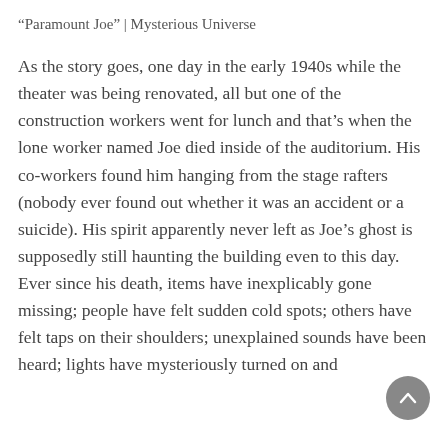“Paramount Joe” | Mysterious Universe
As the story goes, one day in the early 1940s while the theater was being renovated, all but one of the construction workers went for lunch and that’s when the lone worker named Joe died inside of the auditorium. His co-workers found him hanging from the stage rafters (nobody ever found out whether it was an accident or a suicide). His spirit apparently never left as Joe’s ghost is supposedly still haunting the building even to this day. Ever since his death, items have inexplicably gone missing; people have felt sudden cold spots; others have felt taps on their shoulders; unexplained sounds have been heard; lights have mysteriously turned on and